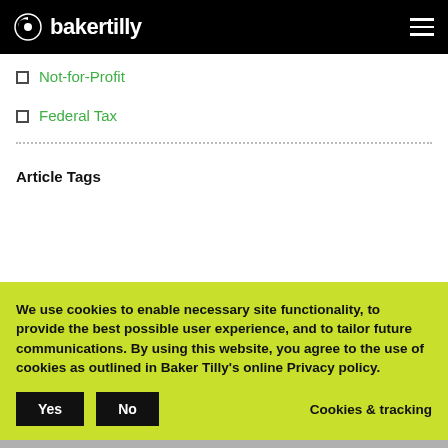bakertilly
Not-for-Profit
Federal Tax
Article Tags
We use cookies to enable necessary site functionality, to provide the best possible user experience, and to tailor future communications. By using this website, you agree to the use of cookies as outlined in Baker Tilly's online Privacy policy.